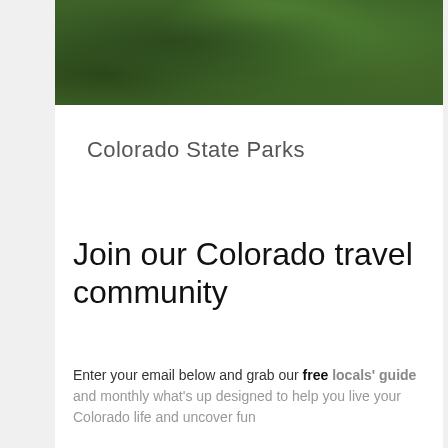[Figure (photo): Aerial or close-up view of dense green tree foliage, dark green canopy]
Colorado State Parks
Join our Colorado travel community
Enter your email below and grab our free locals' guide and monthly what's up designed to help you live your Colorado life and uncover fun